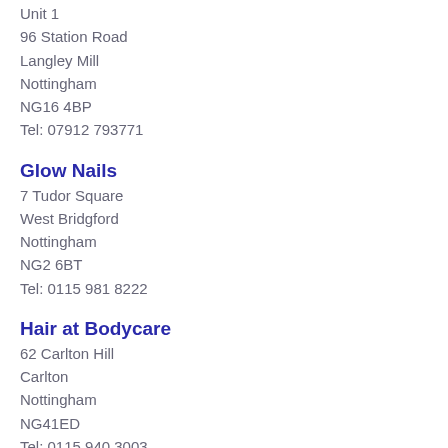Unit 1
96 Station Road
Langley Mill
Nottingham
NG16 4BP
Tel: 07912 793771
Glow Nails
7 Tudor Square
West Bridgford
Nottingham
NG2 6BT
Tel: 0115 981 8222
Hair at Bodycare
62 Carlton Hill
Carlton
Nottingham
NG41ED
Tel: 0115 940 3003